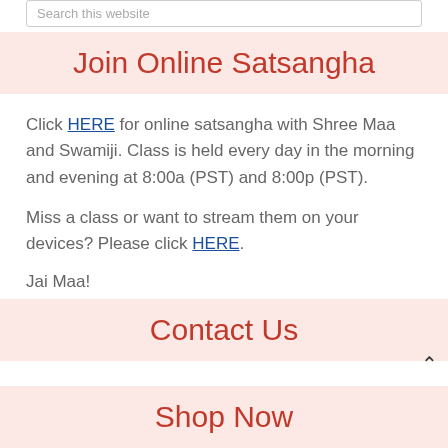Search this website
Join Online Satsangha
Click HERE for online satsangha with Shree Maa and Swamiji. Class is held every day in the morning and evening at 8:00a (PST) and 8:00p (PST).
Miss a class or want to stream them on your devices? Please click HERE.
Jai Maa!
Contact Us
Shop Now